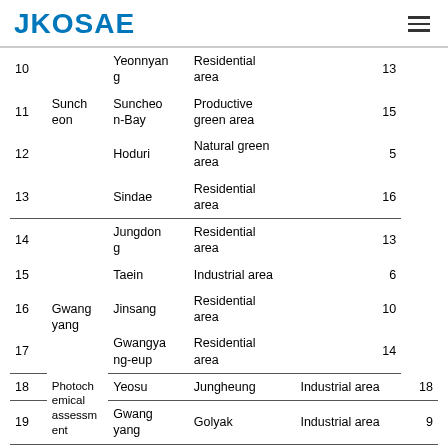JKOSAE
| No. | City | District | Type | Count |
| --- | --- | --- | --- | --- |
| 10 |  | Yeonnygang | Residential area | 13 |
| 11 | Suncheon | Suncheon-Bay | Productive green area | 15 |
| 12 |  | Hoduri | Natural green area | 5 |
| 13 |  | Sindae | Residential area | 16 |
| 14 |  | Jungdong | Residential area | 13 |
| 15 | Gwangyang | Taein | Industrial area | 6 |
| 16 |  | Jinsang | Residential area | 10 |
| 17 |  | Gwangyang-eup | Residential area | 14 |
| 18 | Photochemical assessment | Yeosu | Jungheung | Industrial area | 18 |
| 19 |  | Gwangyang | Golyak | Industrial area | 9 |
[Figure (map): Map showing assessment locations in the study area]